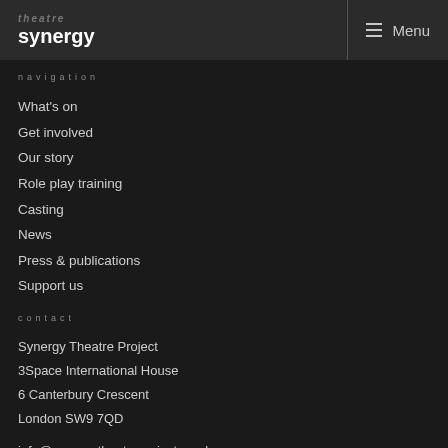theatre synergy | Menu
navigation
What's on
Get involved
Our story
Role play training
Casting
News
Press & publications
Support us
contact
Synergy Theatre Project
3Space International House
6 Canterbury Crescent
London SW9 7QD
info@synergytheatreproject.co.uk